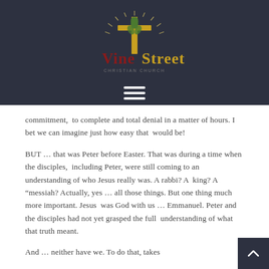[Figure (logo): Vine Street church logo with a golden cross and green leaves on a dark navy background, with red and gold text reading 'Vine Street']
commitment,  to complete and total denial in a matter of hours. I bet we can imagine just how easy that  would be!
BUT … that was Peter before Easter. That was during a time when the disciples,  including Peter, were still coming to an understanding of who Jesus really was. A rabbi? A  king? A “messiah? Actually, yes … all those things. But one thing much more important. Jesus  was God with us … Emmanuel. Peter and the disciples had not yet grasped the full  understanding of what that truth meant.
And … neither have we. To do that, takes